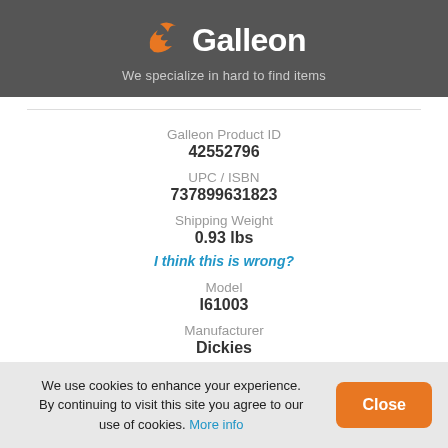[Figure (logo): Galleon logo with orange bird/wave icon and white text on dark gray background]
We specialize in hard to find items
Galleon Product ID
42552796
UPC / ISBN
737899631823
Shipping Weight
0.93 lbs
I think this is wrong?
Model
I61003
Manufacturer
Dickies
Shipping Dimension
We use cookies to enhance your experience. By continuing to visit this site you agree to our use of cookies. More info